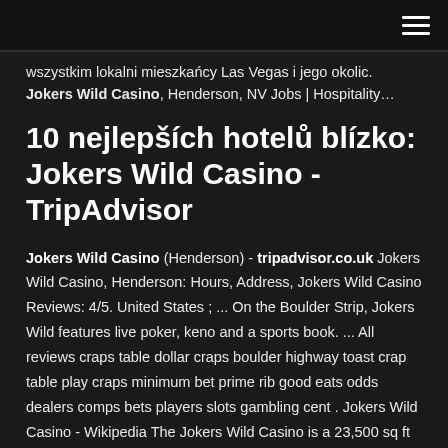[hamburger menu icon]
wszystkim lokalni mieszkańcy Las Vegas i jego okolic. Jokers Wild Casino, Henderson, NV Jobs | Hospitality…
10 nejlepších hotelů blízko: Jokers Wild Casino - TripAdvisor
Jokers Wild Casino (Henderson) - tripadvisor.co.uk Jokers Wild Casino, Henderson: Hours, Address, Jokers Wild Casino Reviews: 4/5. United States ; ... On the Boulder Strip, Jokers Wild features live poker, keno and a sports book. ... All reviews craps table dollar craps boulder highway toast crap table play craps minimum bet prime rib good eats odds dealers comps bets players slots gambling cent . Jokers Wild Casino - Wikipedia The Jokers Wild Casino is a 23,500 sq ft (2,180 m2) locals casino located in Henderson